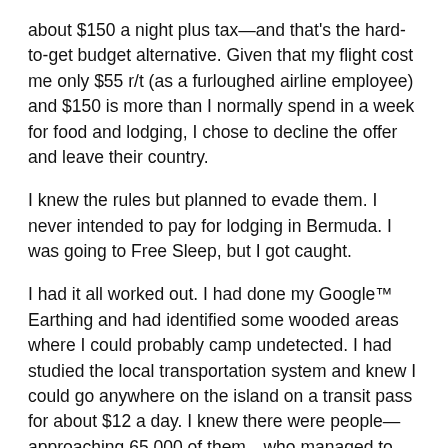about $150 a night plus tax—and that's the hard-to-get budget alternative. Given that my flight cost me only $55 r/t (as a furloughed airline employee) and $150 is more than I normally spend in a week for food and lodging, I chose to decline the offer and leave their country.
I knew the rules but planned to evade them. I never intended to pay for lodging in Bermuda. I was going to Free Sleep, but I got caught.
I had it all worked out. I had done my Google™ Earthing and had identified some wooded areas where I could probably camp undetected. I had studied the local transportation system and knew I could go anywhere on the island on a transit pass for about $12 a day. I knew there were people—approaching 65,000 of them—who managed to live in Bermuda for less than $150/day, so I planned to quietly join them for two nights. In my checked luggage, I had a backpackers tent and a light sleeping bag —which proved my undoing.
I knew that Bermuda didn't allow camping by foreigners and